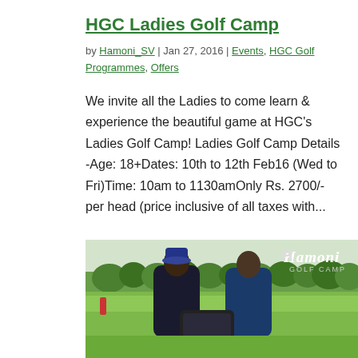HGC Ladies Golf Camp
by Hamoni_SV | Jan 27, 2016 | Events, HGC Golf Programmes, Offers
We invite all the Ladies to come learn & experience the beautiful game at HGC's Ladies Golf Camp! Ladies Golf Camp Details -Age: 18+Dates: 10th to 12th Feb16 (Wed to Fri)Time: 10am to 1130amOnly Rs. 2700/- per head (price inclusive of all taxes with...
[Figure (photo): Two men standing on a golf course, one in a dark jacket with a hat and one in a blue jacket, holding a bag/package between them. Trees and green grass in background. Hamoni Golf Camp logo visible in upper right.]